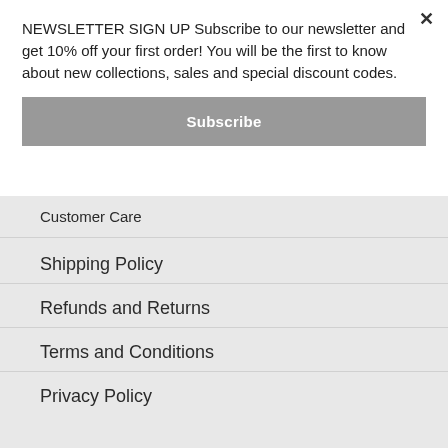NEWSLETTER SIGN UP Subscribe to our newsletter and get 10% off your first order! You will be the first to know about new collections, sales and special discount codes.
Subscribe
Customer Care
Shipping Policy
Refunds and Returns
Terms and Conditions
Privacy Policy